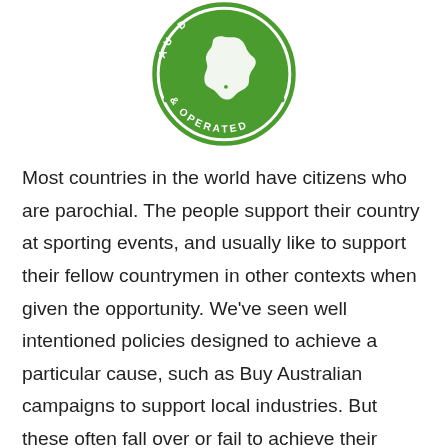[Figure (logo): Circular green stamp logo with Australia map silhouette in the center and text '& OPERATED' along the bottom arc, partially cropped at top]
Most countries in the world have citizens who are parochial. The people support their country at sporting events, and usually like to support their fellow countrymen in other contexts when given the opportunity. We've seen well intentioned policies designed to achieve a particular cause, such as Buy Australian campaigns to support local industries. But these often fall over or fail to achieve their objective, as these examples show.